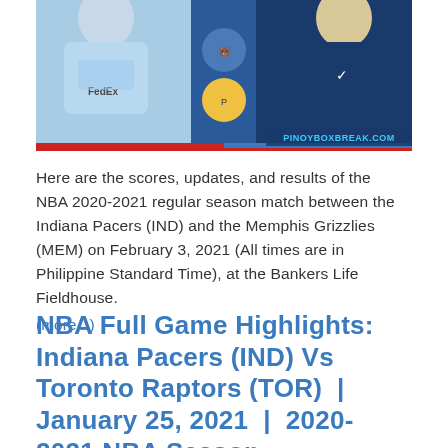[Figure (photo): Composite promotional image showing Memphis Grizzlies vs Indiana Pacers NBA matchup. Left side shows a Grizzlies player in light blue FedEx jersey, center shows Grizzlies and Pacers team logos, right side shows a Pacers player in dark blue and gold jersey. Bottom right watermark reads PINOYBOXBREAK.COM. Bottom has red and blue accent bars.]
Here are the scores, updates, and results of the NBA 2020-2021 regular season match between the Indiana Pacers (IND) and the Memphis Grizzlies (MEM) on February 3, 2021 (All times are in Philippine Standard Time), at the Bankers Life Fieldhouse.
(more...)
NBA Full Game Highlights: Indiana Pacers (IND) Vs Toronto Raptors (TOR) | January 25, 2021 | 2020-2021 NBA Season